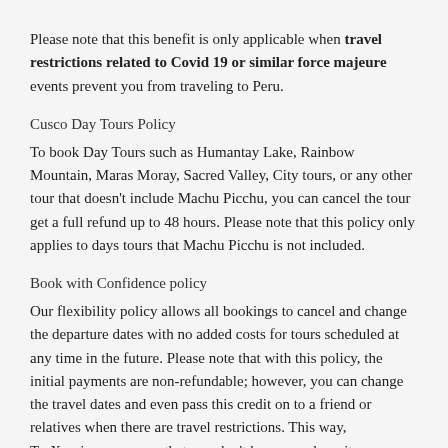Please note that this benefit is only applicable when travel restrictions related to Covid 19 or similar force majeure events prevent you from traveling to Peru.
Cusco Day Tours Policy
To book Day Tours such as Humantay Lake, Rainbow Mountain, Maras Moray, Sacred Valley, City tours, or any other tour that doesn’t include Machu Picchu, you can cancel the tour get a full refund up to 48 hours. Please note that this policy only applies to days tours that Machu Picchu is not included.
Book with Confidence policy
Our flexibility policy allows all bookings to cancel and change the departure dates with no added costs for tours scheduled at any time in the future. Please note that with this policy, the initial payments are non-refundable; however, you can change the travel dates and even pass this credit on to a friend or relatives when there are travel restrictions. This way, TreXperience ensures that you don’t lose your deposit.
To benefit from this policy, you must change your departure dates or advice the cancellation 48 hours before the tour departure date. After 48 hours, please read our T&C.